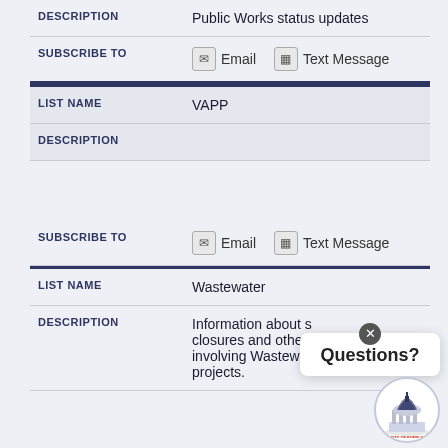| FIELD | VALUE |
| --- | --- |
| DESCRIPTION | Public Works status updates |
| SUBSCRIBE TO | [Email] [Text Message] |
| LIST NAME | VAPP |
| DESCRIPTION |  |
| SUBSCRIBE TO | [Email] [Text Message] |
| LIST NAME | Wastewater |
| DESCRIPTION | Information about s... closures and other a... involving Wastewater projects. |
[Figure (other): Questions? chat popup with close button and City of Pueblo logo]